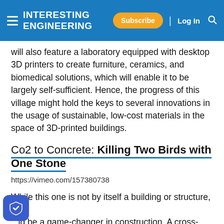INTERESTING ENGINEERING — Subscribe | Log In
will also feature a laboratory equipped with desktop 3D printers to create furniture, ceramics, and biomedical solutions, which will enable it to be largely self-sufficient. Hence, the progress of this village might hold the keys to several innovations in the usage of sustainable, low-cost materials in the space of 3D-printed buildings.
Co2 to Concrete: Killing Two Birds with One Stone
https://vimeo.com/157380738
While this one is not by itself a building or structure, it could be a game-changer in construction. A cross-national research team at the University of California at Los Angeles is working on a unique